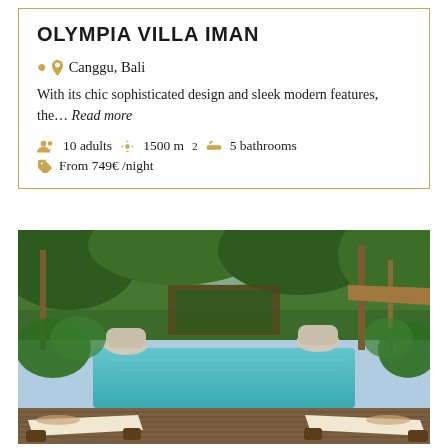OLYMPIA VILLA IMAN
Canggu, Bali
With its chic sophisticated design and sleek modern features, the... Read more
10 adults  1500 m²  5 bathrooms
From 749€ /night
[Figure (photo): Outdoor swimming pool of Olympia Villa Iman in Canggu, Bali, surrounded by lush tropical greenery, palm trees, and wooden deck with sun loungers]